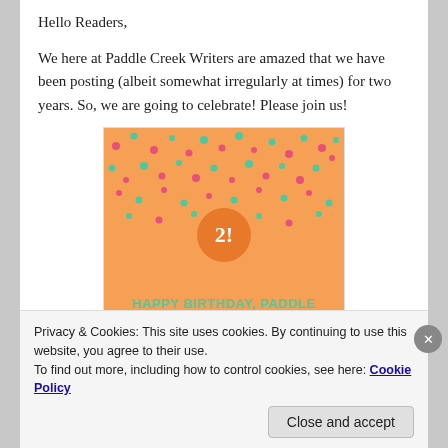Hello Readers,
We here at Paddle Creek Writers are amazed that we have been posting (albeit somewhat irregularly at times) for two years. So, we are going to celebrate! Please join us!
[Figure (illustration): Birthday card with orange background, colorful confetti dots at top, a darker orange circle in center with '2!' in white text, and teal text reading 'HAPPY BIRTHDAY, PADDLE CREEK WRITERS!!!']
Privacy & Cookies: This site uses cookies. By continuing to use this website, you agree to their use.
To find out more, including how to control cookies, see here: Cookie Policy